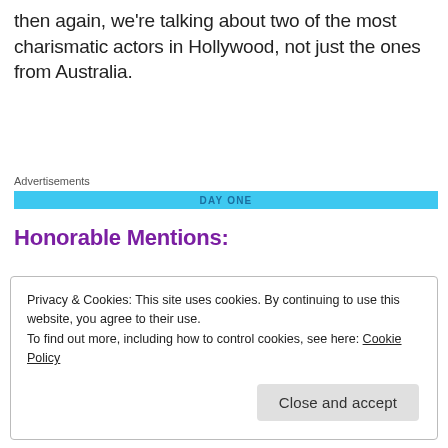then again, we're talking about two of the most charismatic actors in Hollywood, not just the ones from Australia.
Advertisements
[Figure (other): Advertisements banner — a blue horizontal bar with partial text 'DAY ONE']
Honorable Mentions:
Privacy & Cookies: This site uses cookies. By continuing to use this website, you agree to their use.
To find out more, including how to control cookies, see here: Cookie Policy